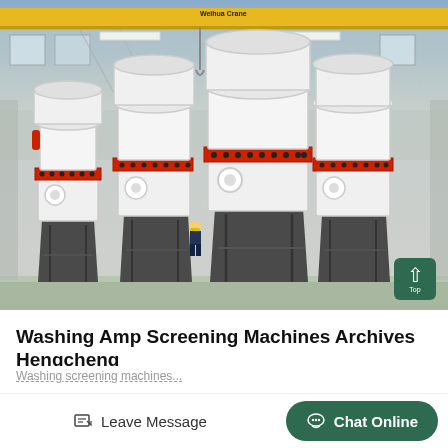[Figure (photo): Factory interior showing four large white industrial cone crusher machines with red banding, arranged in a row on metal stands. A worker in a yellow hard hat stands among them. An overhead yellow crane beam is visible at the top. The floor is light green.]
Washing Amp Screening Machines Archives Hengcheng
Washing screening machines...